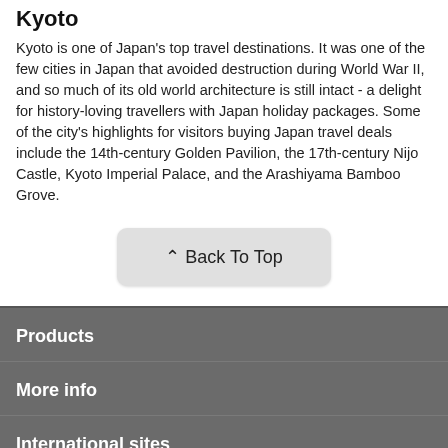Kyoto
Kyoto is one of Japan's top travel destinations. It was one of the few cities in Japan that avoided destruction during World War II, and so much of its old world architecture is still intact - a delight for history-loving travellers with Japan holiday packages. Some of the city's highlights for visitors buying Japan travel deals include the 14th-century Golden Pavilion, the 17th-century Nijo Castle, Kyoto Imperial Palace, and the Arashiyama Bamboo Grove.
[Figure (other): Back To Top button]
Products
More info
International sites
Customer support
Connect with us